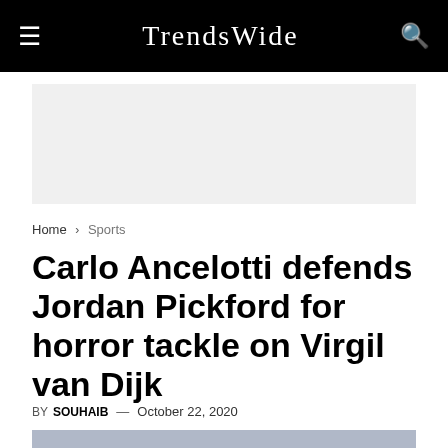TrendsWide
[Figure (other): Advertisement placeholder banner, light gray background]
Home › Sports
Carlo Ancelotti defends Jordan Pickford for horror tackle on Virgil van Dijk
BY SOUHAIB — October 22, 2020
[Figure (photo): Partial photo strip at the bottom, blue/gray blurred background]